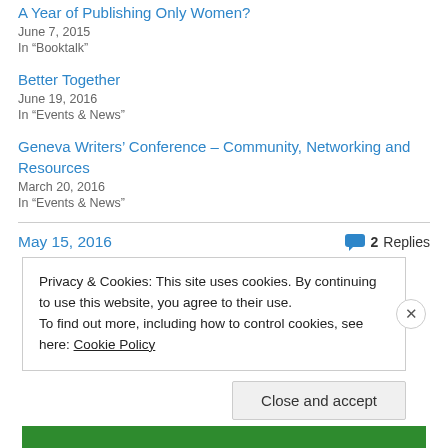A Year of Publishing Only Women?
June 7, 2015
In "Booktalk"
Better Together
June 19, 2016
In "Events & News"
Geneva Writers' Conference – Community, Networking and Resources
March 20, 2016
In "Events & News"
May 15, 2016
2 Replies
Privacy & Cookies: This site uses cookies. By continuing to use this website, you agree to their use.
To find out more, including how to control cookies, see here: Cookie Policy
Close and accept